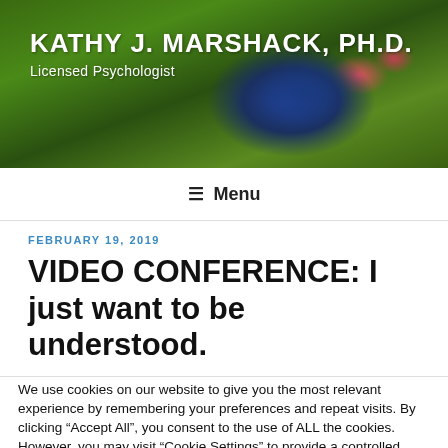KATHY J. MARSHACK, PH.D. — Licensed Psychologist
≡ Menu
FEBRUARY 19, 2019
VIDEO CONFERENCE: I just want to be understood.
We use cookies on our website to give you the most relevant experience by remembering your preferences and repeat visits. By clicking "Accept All", you consent to the use of ALL the cookies. However, you may visit "Cookie Settings" to provide a controlled consent.
Cookie Settings | Accept All